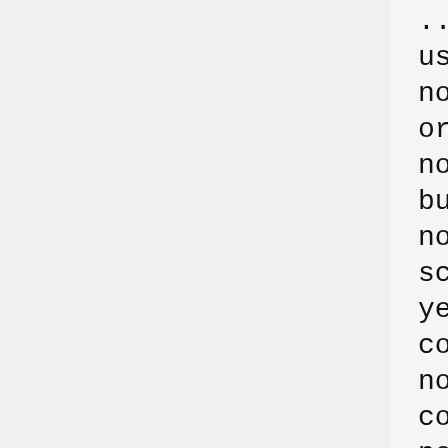../../001.structure/42OD_ligand
use_database_filter
no
orient_ligand
no
bump_filter
no
score_molecules
yes
contact_score_primary
no
contact_score_secondary
no
grid_score_primary
yes
grid_score_secondary
no
grid_score_rep_rad_scale
1
grid_score_vdw_scale
1
grid_score_es_scale
1
grid_score_grid_prefix
../../003.gridbox/grid